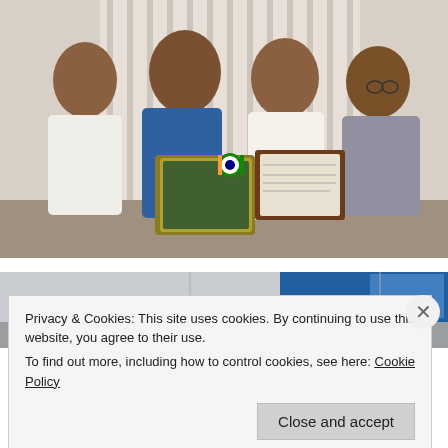[Figure (photo): Four men at an award ceremony indoors. A man in a blue shirt stands in the center receiving or presenting a decorative plaque/award and a framed certificate. All four men wear tricolor (India flag themed) rosette badges. Background shows vertical blinds.]
[Figure (photo): Partially visible second photograph, showing a room or hall setting with a blue banner, cropped by a cookie consent overlay.]
Privacy & Cookies: This site uses cookies. By continuing to use this website, you agree to their use.
To find out more, including how to control cookies, see here: Cookie Policy
Close and accept